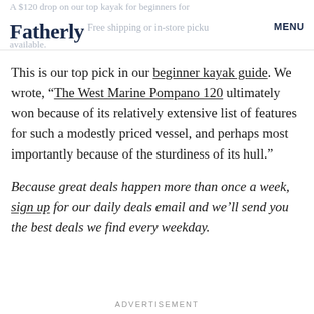A $120 drop on our top kayak for beginners for Fatherly. Free shipping or in-store pickup available. MENU
This is our top pick in our beginner kayak guide. We wrote, “The West Marine Pompano 120 ultimately won because of its relatively extensive list of features for such a modestly priced vessel, and perhaps most importantly because of the sturdiness of its hull.”
Because great deals happen more than once a week, sign up for our daily deals email and we’ll send you the best deals we find every weekday.
ADVERTISEMENT